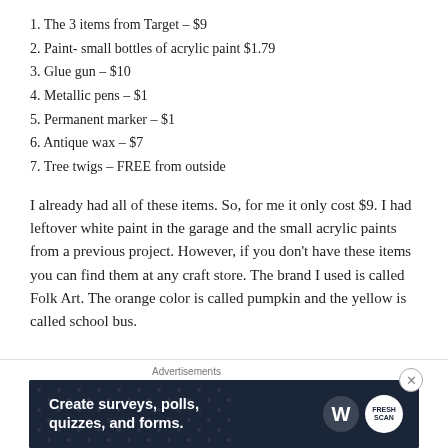1. The 3 items from Target – $9
2. Paint- small bottles of acrylic paint $1.79
3. Glue gun – $10
4. Metallic pens – $1
5. Permanent marker – $1
6. Antique wax – $7
7. Tree twigs – FREE from outside
I already had all of these items. So, for me it only cost $9. I had leftover white paint in the garage and the small acrylic paints from a previous project. However, if you don't have these items you can find them at any craft store. The brand I used is called Folk Art. The orange color is called pumpkin and the yellow is called school bus.
Advertisements
[Figure (other): Advertisement banner: dark navy background with dot pattern. Text reads 'Create surveys, polls, quizzes, and forms.' with WordPress and SurveyMonkey logos on the right.]